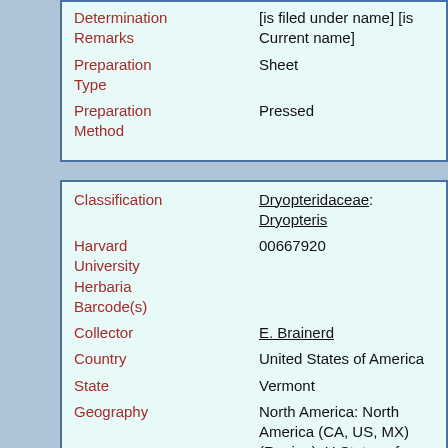| Field | Value |
| --- | --- |
| Determination Remarks | [is filed under name] [is Current name] |
| Preparation Type | Sheet |
| Preparation Method | Pressed |
| Field | Value |
| --- | --- |
| Classification | Dryopteridaceae: Dryopteris |
| Harvard University Herbaria Barcode(s) | 00667920 |
| Collector | E. Brainerd |
| Country | United States of America |
| State | Vermont |
| Geography | North America: North America (CA, US, MX) (Region): United States of America: Vermont: Addison County: Middlebury |
| Locality | Middlebury |
| Date Collected | 1879-08-11 [Aug. 11, 1879] |